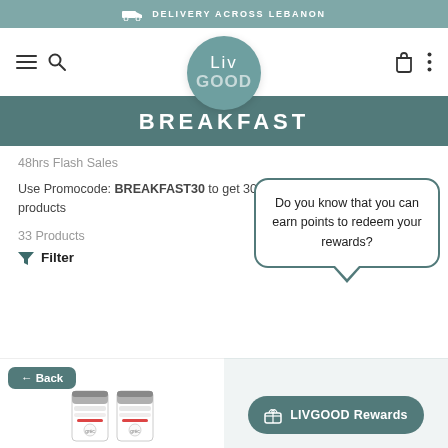DELIVERY ACROSS LEBANON
[Figure (logo): LivGood circular logo in teal/grey-green color]
BREAKFAST
48hrs Flash Sales
Use Promocode: BREAKFAST30 to get 30% discount on the below products
33 Products
Filter
Do you know that you can earn points to redeem your rewards?
← Back
LIVGOOD Rewards